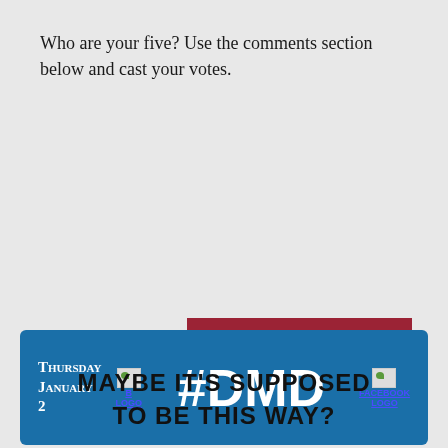Who are your five? Use the comments section below and cast your votes.
[Figure (logo): JERRY'S TOYOTA banner image placeholder inside a dark red bordered box]
[Figure (infographic): Blue bar with date 'Thursday January 2', B logo, #DMD text in large white bold font, and Facebook logo]
MAYBE IT'S SUPPOSED TO BE THIS WAY?